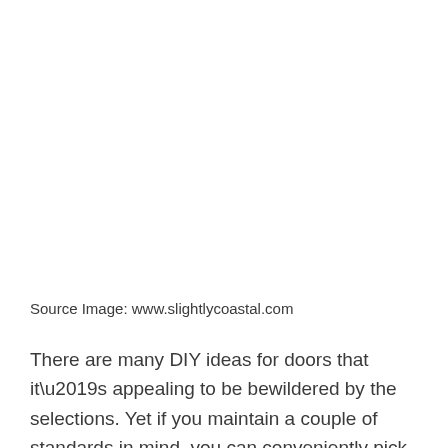Source Image: www.slightlycoastal.com
There are many DIY ideas for doors that it’s appealing to be bewildered by the selections. Yet if you maintain a couple of standards in mind, you can conveniently pick